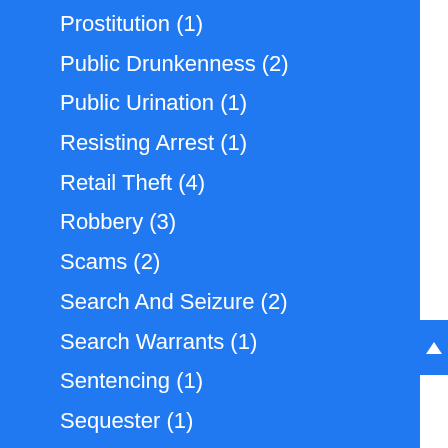Prostitution (1)
Public Drunkenness (2)
Public Urination (1)
Resisting Arrest (1)
Retail Theft (4)
Robbery (3)
Scams (2)
Search And Seizure (2)
Search Warrants (1)
Sentencing (1)
Sequester (1)
Sex Offenses (3)
Sexual Assault (1)
Social Media (1)
SORNA (1)
State College (3)